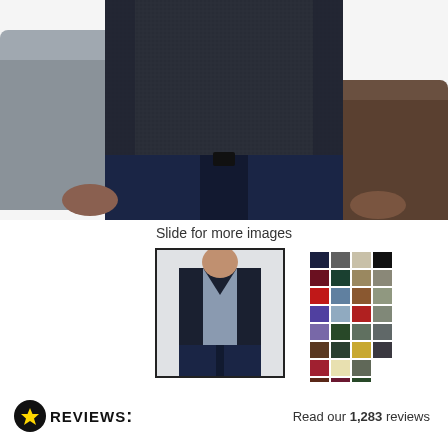[Figure (photo): Close-up photo of a man wearing a dark navy/charcoal V-neck sweater vest over a grey shirt, with dark jeans. Only torso and hands visible.]
Slide for more images
[Figure (photo): Thumbnail image of a man wearing a dark navy V-neck sweater vest over a grey shirt]
[Figure (other): Color swatch grid showing approximately 36 color options in 6 columns and 7 rows including navy, grey, beige, black, burgundy, green, tan, red, blue, brown, purple, yellow, and more]
Read our 1,283 reviews